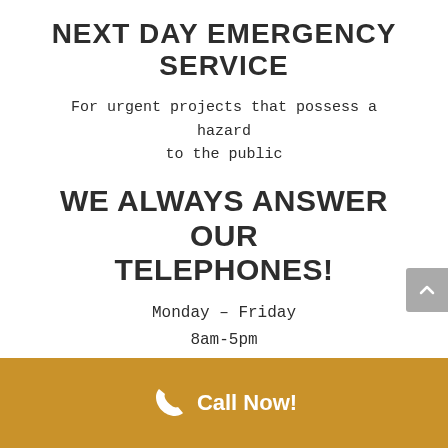NEXT DAY EMERGENCY SERVICE
For urgent projects that possess a hazard to the public
WE ALWAYS ANSWER OUR TELEPHONES!
Monday – Friday
8am-5pm
WE'RE FRIENDLY!
Call Now!